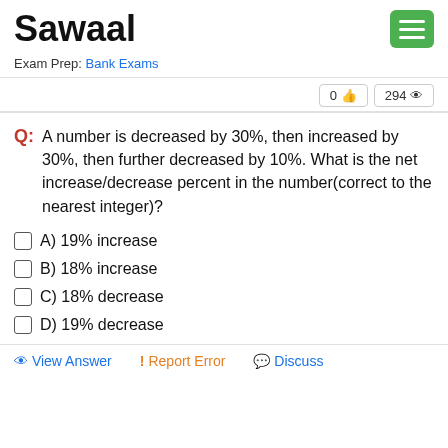Sawaal
Exam Prep: Bank Exams
0 👍  294 👁
Q: A number is decreased by 30%, then increased by 30%, then further decreased by 10%. What is the net increase/decrease percent in the number(correct to the nearest integer)?
A) 19% increase
B) 18% increase
C) 18% decrease
D) 19% decrease
View Answer  ! Report Error  Discuss